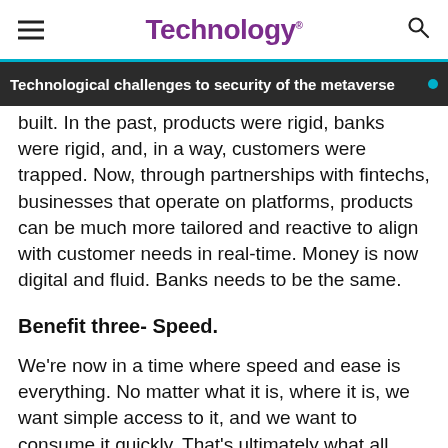Technology.
Technological challenges to security of the metaverse
built. In the past, products were rigid, banks were rigid, and, in a way, customers were trapped. Now, through partnerships with fintechs, businesses that operate on platforms, products can be much more tailored and reactive to align with customer needs in real-time. Money is now digital and fluid. Banks needs to be the same.
Benefit three- Speed.
We're now in a time where speed and ease is everything. No matter what it is, where it is, we want simple access to it, and we want to consume it quickly. That's ultimately what all financial services providers need to be deploying. Collaborating with fintech companies can enable banks offer the speed that